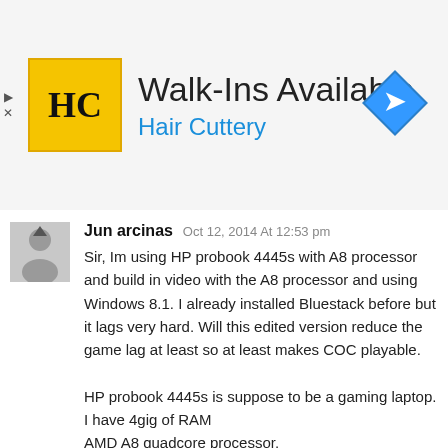[Figure (infographic): Advertisement banner for Hair Cuttery showing logo, 'Walk-Ins Available' headline, and map/directions icon on the right]
Jun arcinas Oct 12, 2014 At 12:53 pm
Sir, Im using HP probook 4445s with A8 processor and build in video with the A8 processor and using Windows 8.1. I already installed Bluestack before but it lags very hard. Will this edited version reduce the game lag at least so at least makes COC playable.

HP probook 4445s is suppose to be a gaming laptop.
I have 4gig of RAM
AMD A8 quadcore processor.
Reply
Ayan
Oct 15, 2014 At 8:42 pm
No, it won't. Optimize your Graphic settings and